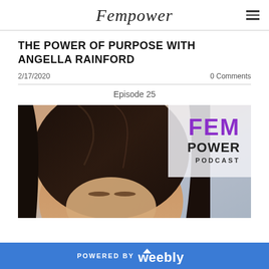Fempower
THE POWER OF PURPOSE WITH ANGELLA RAINFORD
2/17/2020   0 Comments
Episode 25
[Figure (photo): Portrait photo of Angella Rainford with the Fempower Podcast logo overlay showing FEM POWER PODCAST text in purple and black on the right side]
POWERED BY weebly